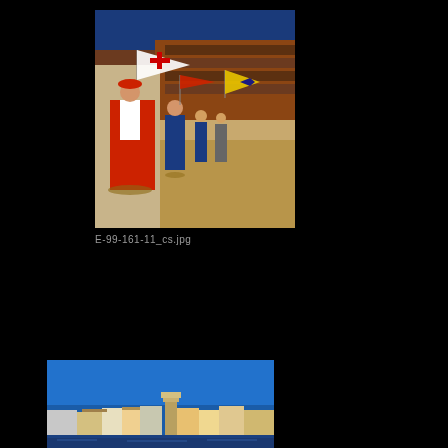[Figure (photo): Outdoor scene of people in medieval/Renaissance costumes carrying flags in a historic Italian piazza (possibly Siena Palio). Figure in foreground wears red and white costume, others carry colorful flags including white, red, and yellow diamond-patterned banners. Buildings with bleachers visible in background under deep blue sky.]
E-99-161-11_cs.jpg
[Figure (photo): Wide panoramic photograph of an Italian riverside city skyline (likely Florence/Pisa) showing rows of colorful historic buildings in pastel yellows and oranges, with a tower visible, under a clear deep blue sky. Foreground shows water/river.]